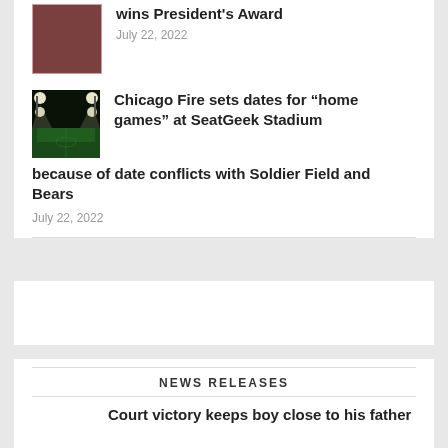wins President's Award
July 22, 2022
[Figure (photo): Soccer stadium at night with green field and bright floodlights]
Chicago Fire sets dates for “home games” at SeatGeek Stadium because of date conflicts with Soldier Field and Bears
July 22, 2022
NEWS RELEASES
Court victory keeps boy close to his father